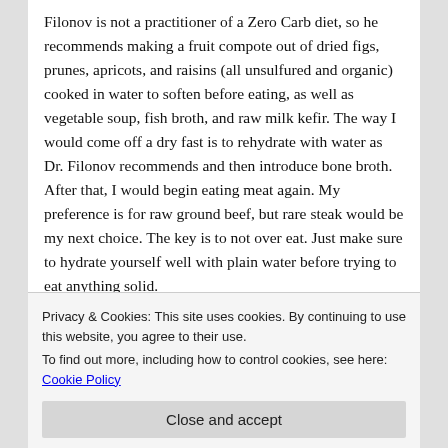Filonov is not a practitioner of a Zero Carb diet, so he recommends making a fruit compote out of dried figs, prunes, apricots, and raisins (all unsulfured and organic) cooked in water to soften before eating, as well as vegetable soup, fish broth, and raw milk kefir. The way I would come off a dry fast is to rehydrate with water as Dr. Filonov recommends and then introduce bone broth. After that, I would begin eating meat again. My preference is for raw ground beef, but rare steak would be my next choice. The key is to not over eat. Just make sure to hydrate yourself well with plain water before trying to eat anything solid.
Dry fasting itself is not a “cure,” but it provides the right
uterine fibroids
Privacy & Cookies: This site uses cookies. By continuing to use this website, you agree to their use.
To find out more, including how to control cookies, see here: Cookie Policy